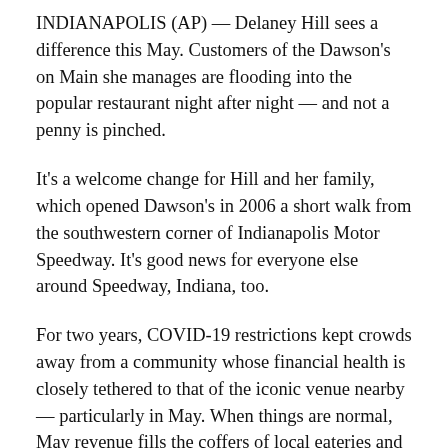INDIANAPOLIS (AP) — Delaney Hill sees a difference this May. Customers of the Dawson's on Main she manages are flooding into the popular restaurant night after night — and not a penny is pinched.
It's a welcome change for Hill and her family, which opened Dawson's in 2006 a short walk from the southwestern corner of Indianapolis Motor Speedway. It's good news for everyone else around Speedway, Indiana, too.
For two years, COVID-19 restrictions kept crowds away from a community whose financial health is closely tethered to that of the iconic venue nearby — particularly in May. When things are normal, May revenue fills the coffers of local eateries and wineries, vendors and businesses, even school and charity fundraisers like it's Christmas elsewhere.
With the Indianapolis 500 finally back to full capacity,